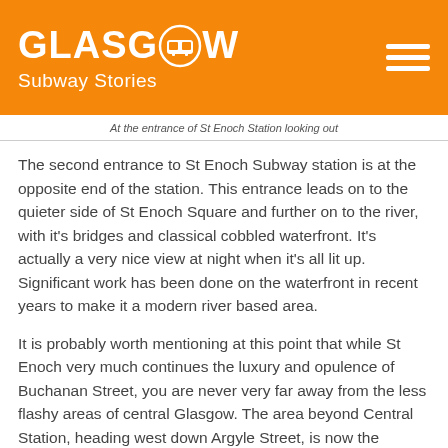GLASGOW Subway Stories
At the entrance of St Enoch Station looking out
The second entrance to St Enoch Subway station is at the opposite end of the station. This entrance leads on to the quieter side of St Enoch Square and further on to the river, with it's bridges and classical cobbled waterfront. It's actually a very nice view at night when it's all lit up. Significant work has been done on the waterfront in recent years to make it a modern river based area.
It is probably worth mentioning at this point that while St Enoch very much continues the luxury and opulence of Buchanan Street, you are never very far away from the less flashy areas of central Glasgow. The area beyond Central Station, heading west down Argyle Street, is now the International Financial Services District.  Most of the local Glaswegians still refer to it as Anderson though, the concrete clad